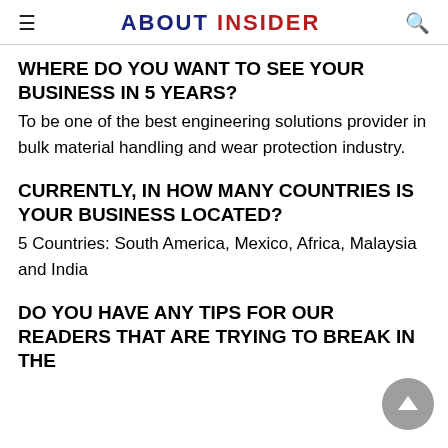ABOUT INSIDER
WHERE DO YOU WANT TO SEE YOUR BUSINESS IN 5 YEARS?
To be one of the best engineering solutions provider in bulk material handling and wear protection industry.
CURRENTLY, IN HOW MANY COUNTRIES IS YOUR BUSINESS LOCATED?
5 Countries: South America, Mexico, Africa, Malaysia and India
DO YOU HAVE ANY TIPS FOR OUR READERS THAT ARE TRYING TO BREAK IN THE